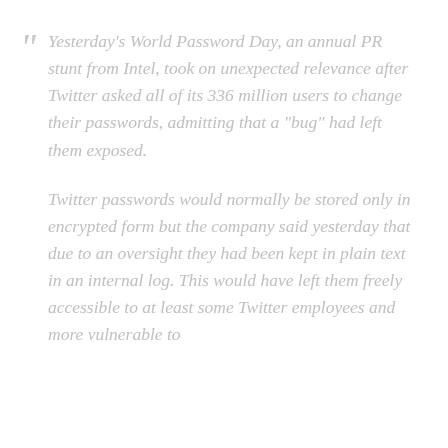“ Yesterday’s World Password Day, an annual PR stunt from Intel, took on unexpected relevance after Twitter asked all of its 336 million users to change their passwords, admitting that a “bug” had left them exposed.
Twitter passwords would normally be stored only in encrypted form but the company said yesterday that due to an oversight they had been kept in plain text in an internal log. This would have left them freely accessible to at least some Twitter employees and more vulnerable to